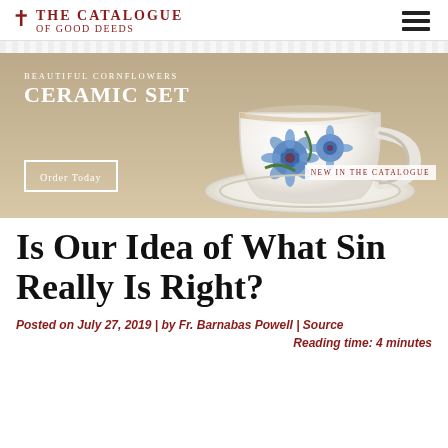THE CATALOGUE OF GOOD DEEDS
[Figure (photo): Promotional banner showing a white ceramic teacup decorated with blue cornflowers on a saucer, on a wooden table. Text overlay reads 'Beautiful Cornflowers Ceramic Set' with 'Order Today' button and 'New in the Catalogue' badge.]
Is Our Idea of What Sin Really Is Right?
Posted on July 27, 2019 | by Fr. Barnabas Powell | Source
Reading time: 4 minutes